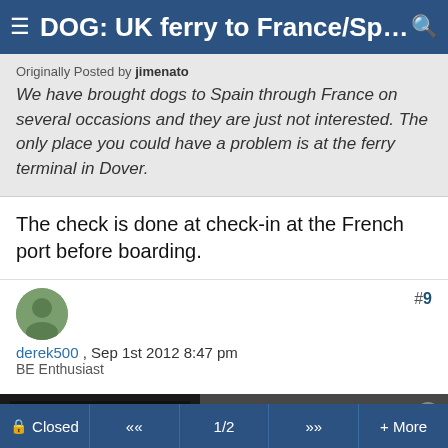≡ DOG: UK ferry to France/Spain; ... 🔍
Originally Posted by jimenato
We have brought dogs to Spain through France on several occasions and they are just not interested. The only place you could have a problem is at the ferry terminal in Dover.
The check is done at check-in at the French port before boarding.
#9
derek500 , Sep 1st 2012 8:47 pm
BE Enthusiast
[Figure (screenshot): Ad overlay showing a video player with error message 'The media could not be loaded, either because the server or network failed or because the format is not supported.' alongside text 'Could The Buccaneers (-1.5) Vs. Cowboys Spread Decrease?']
🔒 Closed  «  1/2  »  + More